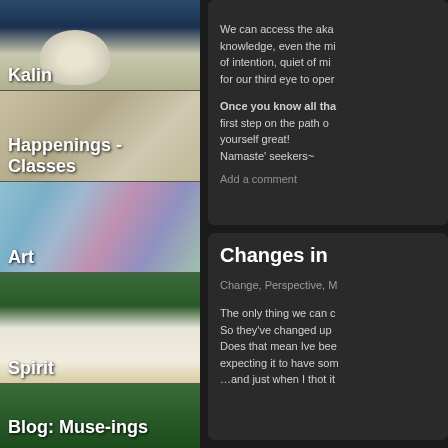[Figure (photo): Navigation menu item with photo of swan on dark water, labeled 'Kalin']
[Figure (photo): Navigation menu item with photo of multiple swans, labeled 'Happenings - Classes']
[Figure (photo): Navigation menu item with colorful abstract/painted background, labeled 'Art']
[Figure (photo): Navigation menu item with water lily flower photo, labeled 'Spirit']
[Figure (photo): Navigation menu item with green plant background, labeled 'Blog: Muse-ings']
We can access the aka knowledge, even the mi of intention, quiet of mi for our third eye to oper
Once you know all tha first step on the path o yourself great! Namaste' seekers~
Add a comment
Changes in
Change, Perspective, M
The only thing we can c So they've changed up Does that mean Ive bee expecting it to have som …and just when I thot it